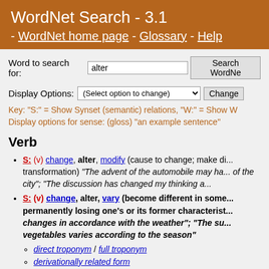WordNet Search - 3.1 - WordNet home page - Glossary - Help
Word to search for: alter | Search WordNet
Display Options: (Select option to change) | Change
Key: "S:" = Show Synset (semantic) relations, "W:" = Show W
Display options for sense: (gloss) "an example sentence"
Verb
S: (v) change, alter, modify (cause to change; make di... transformation) "The advent of the automobile may ha... of the city"; "The discussion has changed my thinking a...
S: (v) change, alter, vary (become different in some... permanently losing one's or its former characterist... changes in accordance with the weather"; "The su... vegetables varies according to the season"
direct troponym / full troponym
derivationally related form
sentence frame